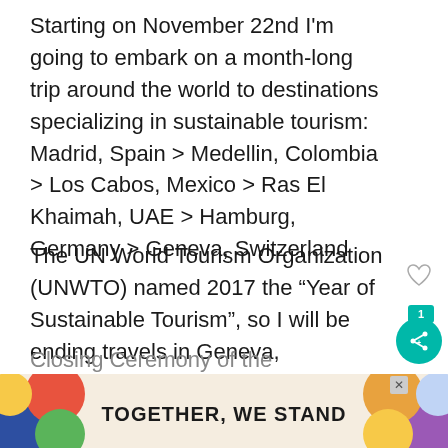Starting on November 22nd I'm going to embark on a month-long trip around the world to destinations specializing in sustainable tourism: Madrid, Spain > Medellin, Colombia > Los Cabos, Mexico > Ras El Khaimah, UAE > Hamburg, Germany > Geneva, Switzerland
The UN World Tourism Organization (UNWTO) named 2017 the “Year of Sustainable Tourism”, so I will be ending travels in Geneva, Switzerland at the Closing Ceremony of the International Year of...
[Figure (infographic): Advertisement banner at bottom reading TOGETHER WE STAND with colorful abstract shapes and an X close button]
[Figure (other): Heart/like icon and share button (teal circle with share icon) and count badge showing 1]